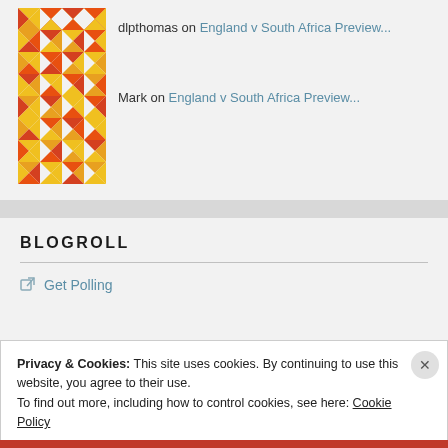[Figure (illustration): Decorative geometric/mosaic avatar icon in yellow, orange, and red triangular pattern]
dlpthomas on England v South Africa Preview...
Mark on England v South Africa Preview...
BLOGROLL
Get Polling
Privacy & Cookies: This site uses cookies. By continuing to use this website, you agree to their use.
To find out more, including how to control cookies, see here: Cookie Policy
Close and accept